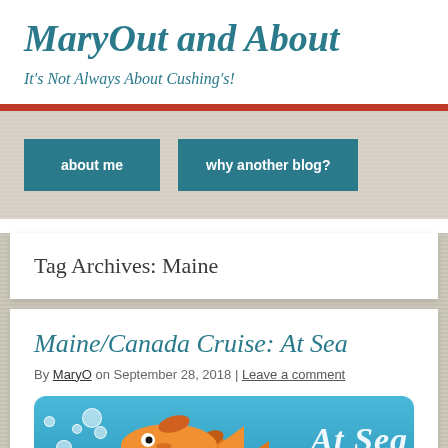MaryOut and About
It's Not Always About Cushing's!
about me
why another blog?
Tag Archives: Maine
Maine/Canada Cruise: At Sea
By MaryO on September 28, 2018 | Leave a comment
[Figure (illustration): Cartoon fish illustration with blue ocean background and 'At Sea' text]